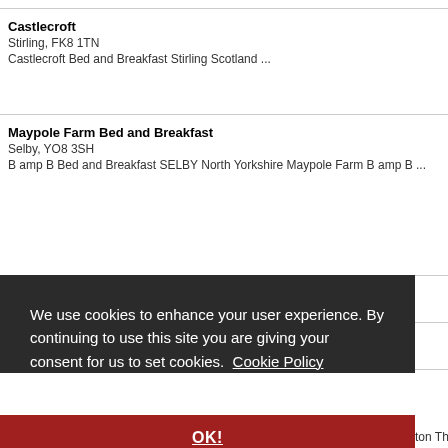Castlecroft
Stirling, FK8 1TN
Castlecroft Bed and Breakfast Stirling Scotland ...
Maypole Farm Bed and Breakfast
Selby, YO8 3SH
B amp B Bed and Breakfast SELBY North Yorkshire Maypole Farm B amp B ...
We use cookies to enhance your user experience. By continuing to use this site you are giving your consent for us to set cookies.  Cookie Policy
OK!